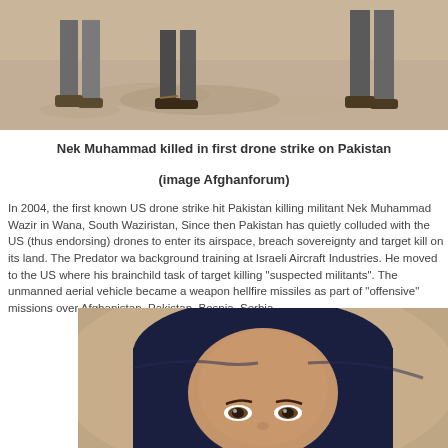[Figure (photo): Partial view of people standing on sandy/dusty ground, feet and lower legs visible, one person wearing sandals]
Nek Muhammad killed in first drone strike on Pakistan
(image Afghanforum)
In 2004, the first known US drone strike hit Pakistan killing militant Nek Muhammad Wazir in Wana, South Waziristan, Since then Pakistan has quietly colluded with the US (thus endorsing) drones to enter its airspace, breach sovereignty and target kill on its land. The Predator wa background training at Israeli Aircraft Industries. He moved to the US where his brainchild task of target killing "suspected militants". The unmanned aerial vehicle became a weapon hellfire missiles as part of "offensive" missions over Afghanistan, Pakistan, Bosnia, Serbia,
[Figure (photo): Close-up portrait of a young woman wearing a dark blue headscarf, with focused brown eyes and olive skin tone]